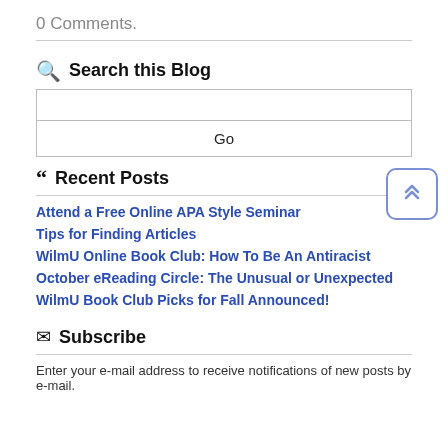0 Comments.
Search this Blog
Recent Posts
Attend a Free Online APA Style Seminar
Tips for Finding Articles
WilmU Online Book Club: How To Be An Antiracist
October eReading Circle: The Unusual or Unexpected
WilmU Book Club Picks for Fall Announced!
Subscribe
Enter your e-mail address to receive notifications of new posts by e-mail.